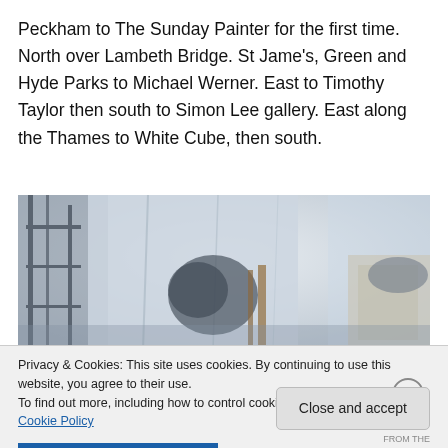Peckham to The Sunday Painter for the first time. North over Lambeth Bridge. St Jame's, Green and Hyde Parks to Michael Werner. East to Timothy Taylor then south to Simon Lee gallery. East along the Thames to White Cube, then south.
[Figure (photo): A blurry indoor photo showing what appears to be a room or studio with scaffolding on the left, translucent plastic sheeting, and some dark objects and boxes visible through the haze.]
Privacy & Cookies: This site uses cookies. By continuing to use this website, you agree to their use.
To find out more, including how to control cookies, see here: Cookie Policy